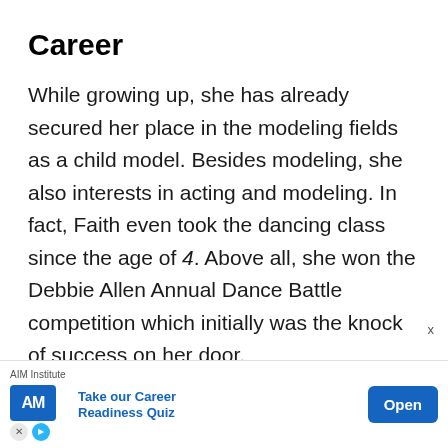Career
While growing up, she has already secured her place in the modeling fields as a child model. Besides modeling, she also interests in acting and modeling. In fact, Faith even took the dancing class since the age of 4. Above all, she won the Debbie Allen Annual Dance Battle competition which initially was the knock of success on her door.
Then Faith made her debut in the popular Disney series Shake It Up!  Well, through the series, she grabbed the public attention and get more opportunities.